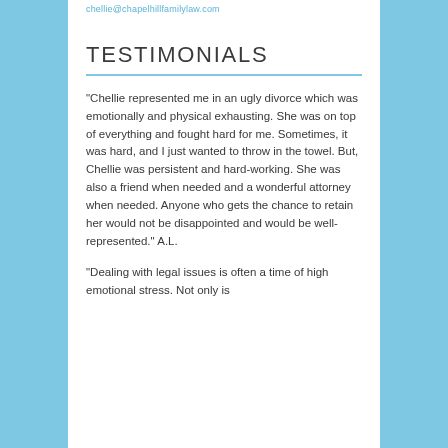chellie@chapelhillfamilylaw.com
TESTIMONIALS
“Chellie represented me in an ugly divorce which was emotionally and physical exhausting.  She was on top of everything and fought hard for me.  Sometimes, it was hard, and I just wanted to throw in the towel.  But, Chellie was persistent and hard-working.  She was also a friend when needed and a wonderful attorney when needed.  Anyone who gets the chance to retain her would not be disappointed and would be well-represented.”  A.L.
“Dealing with legal issues is often a time of high emotional stress.  Not only is